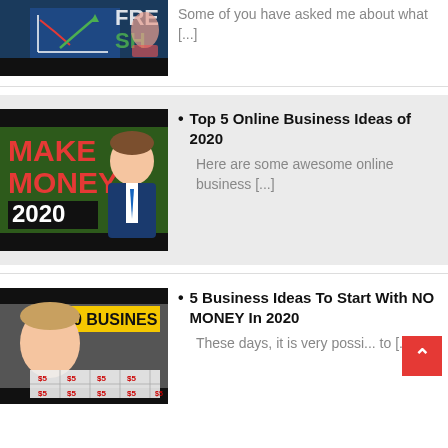[Figure (screenshot): Partial thumbnail showing a woman with charts/graphs background and 'FRESH' text]
Some of you have asked me about what [...]
[Figure (screenshot): Thumbnail showing 'MAKE MONEY 2020' text with animated businessman character in suit]
Top 5 Online Business Ideas of 2020
Here are some awesome online business [...]
[Figure (screenshot): Thumbnail showing '$0 BUSINESS' text with a young man holding money sheets]
5 Business Ideas To Start With NO MONEY In 2020
These days, it is very possi... to [...]